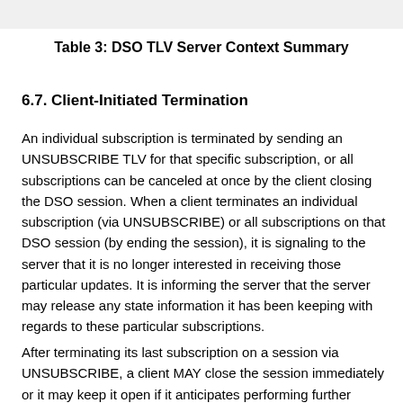Table 3: DSO TLV Server Context Summary
6.7. Client-Initiated Termination
An individual subscription is terminated by sending an UNSUBSCRIBE TLV for that specific subscription, or all subscriptions can be canceled at once by the client closing the DSO session. When a client terminates an individual subscription (via UNSUBSCRIBE) or all subscriptions on that DSO session (by ending the session), it is signaling to the server that it is no longer interested in receiving those particular updates. It is informing the server that the server may release any state information it has been keeping with regards to these particular subscriptions.
After terminating its last subscription on a session via UNSUBSCRIBE, a client MAY close the session immediately or it may keep it open if it anticipates performing further operations on that session in the future. If a client wishes to